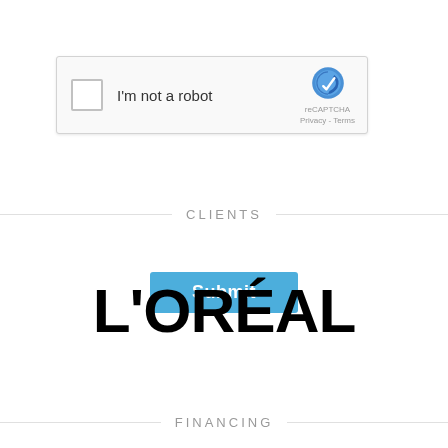[Figure (screenshot): reCAPTCHA widget with checkbox, 'I'm not a robot' label, reCAPTCHA logo, Privacy and Terms links]
Submit
CLIENTS
[Figure (logo): L'ORÉAL brand logo in large bold black text]
FINANCING